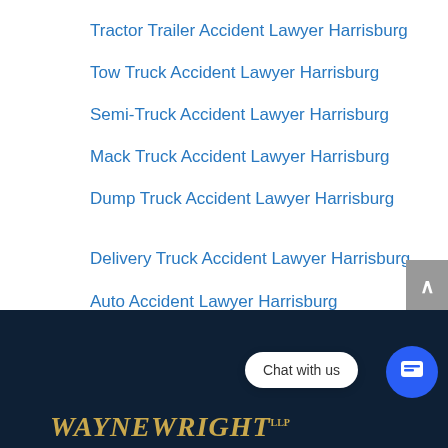Tractor Trailer Accident Lawyer Harrisburg
Tow Truck Accident Lawyer Harrisburg
Semi-Truck Accident Lawyer Harrisburg
Mack Truck Accident Lawyer Harrisburg
Dump Truck Accident Lawyer Harrisburg
Delivery Truck Accident Lawyer Harrisburg
Auto Accident Lawyer Harrisburg
[Figure (logo): Wayne Wright LLP law firm logo in gold italic serif text on dark navy background, with chat bubble saying 'Chat with us' and blue chat icon button]